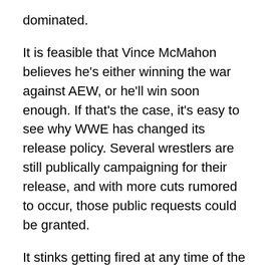dominated.
It is feasible that Vince McMahon believes he's either winning the war against AEW, or he'll win soon enough. If that's the case, it's easy to see why WWE has changed its release policy. Several wrestlers are still publically campaigning for their release, and with more cuts rumored to occur, those public requests could be granted.
It stinks getting fired at any time of the year, especially around the holidays. Even though two of the four wanted out, high paying indy gigs are not guaranteed. Besides, those only last so long before the wrestler is no longer a novelty and promoters begin to pay less. Best of luck to the four gentlemen as this new era of wrestling continues to be full of surprises.